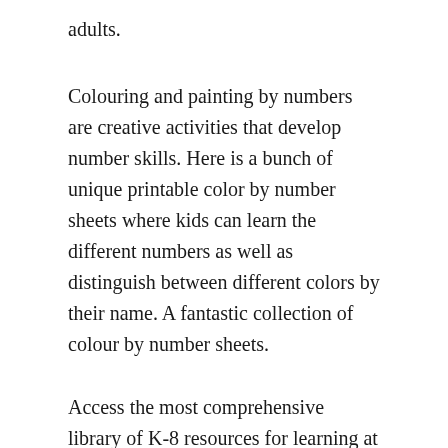adults.
Colouring and painting by numbers are creative activities that develop number skills. Here is a bunch of unique printable color by number sheets where kids can learn the different numbers as well as distinguish between different colors by their name. A fantastic collection of colour by number sheets.
Access the most comprehensive library of K-8 resources for learning at school and at home. Color by Numbers Worksheet – 4. Paint palette – worksheet.